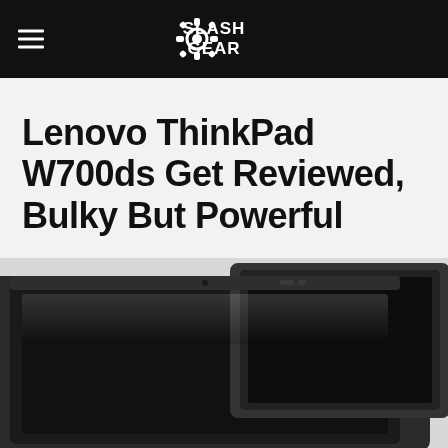SlashGear
Lenovo ThinkPad W700ds Get Reviewed, Bulky But Powerful
[Figure (photo): Lenovo ThinkPad W700ds laptop with dual screens open, showing dark screens from a front-angle view]